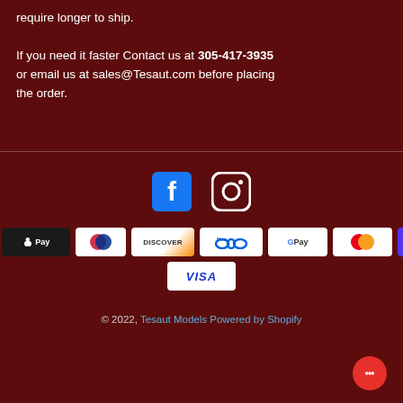require longer to ship.

If you need it faster Contact us at 305-417-3935 or email us at sales@Tesaut.com before placing the order.
[Figure (screenshot): Social media icons: Facebook and Instagram]
[Figure (screenshot): Payment method badges: American Express, Apple Pay, Diners Club, Discover, Meta Pay, Google Pay, Mastercard, Shop Pay, Visa]
© 2022, Tesaut Models Powered by Shopify